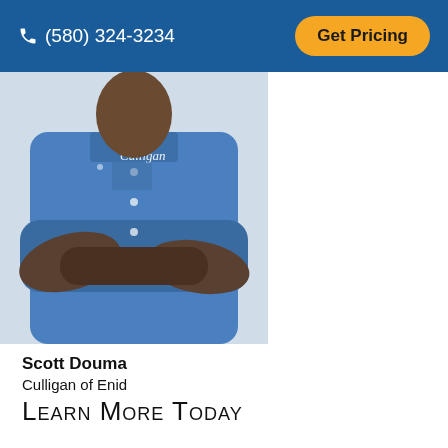(580) 324-3234   Get Pricing
[Figure (photo): Photo of a person in a blue Culligan uniform shirt with arms crossed, torso and arms visible]
Scott Douma
Culligan of Enid
Learn More Today
I'd Like Culligan to Help Me With...
Water Softener
Free Water Test